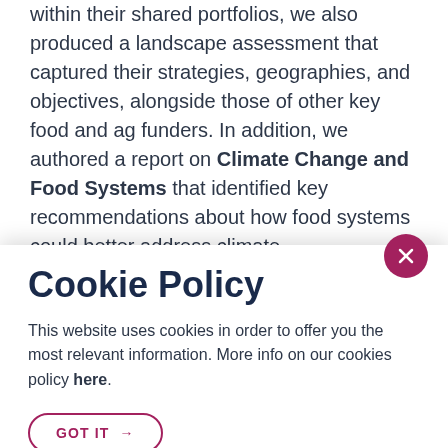within their shared portfolios, we also produced a landscape assessment that captured their strategies, geographies, and objectives, alongside those of other key food and ag funders. In addition, we authored a report on Climate Change and Food Systems that identified key recommendations about how food systems could better address climate
Cookie Policy
This website uses cookies in order to offer you the most relevant information. More info on our cookies policy here.
initiatives that aim to drive systemic change.